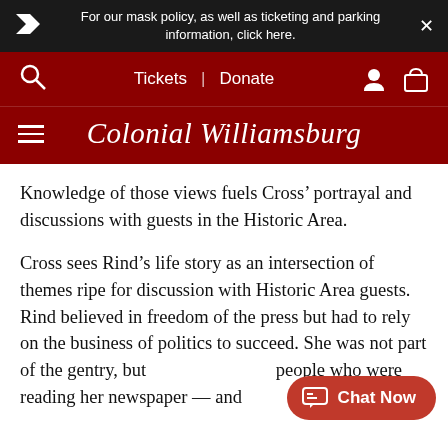For our mask policy, as well as ticketing and parking information, click here.
[Figure (screenshot): Colonial Williamsburg website navigation bar with Tickets, Donate links and search/user/cart icons on dark red background]
Knowledge of those views fuels Cross’ portrayal and discussions with guests in the Historic Area.
Cross sees Rind’s life story as an intersection of themes ripe for discussion with Historic Area guests. Rind believed in freedom of the press but had to rely on the business of politics to succeed. She was not part of the gentry, but people who were reading her newspaper — and